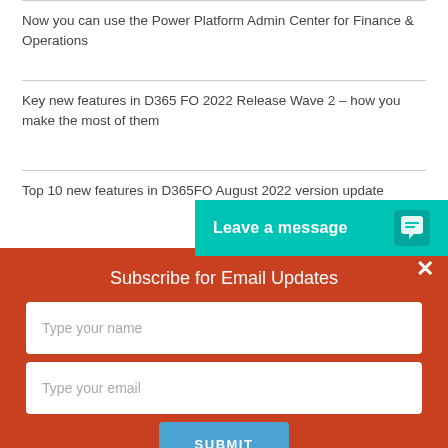Now you can use the Power Platform Admin Center for Finance & Operations
Key new features in D365 FO 2022 Release Wave 2 – how you make the most of them
Top 10 new features in D365FO August 2022 version update
[Figure (screenshot): Teal chat button overlay with 'Leave a message' text and chat bubble icon]
Subscribe for Email Updates
Type your name
Type your email
SUBMIT